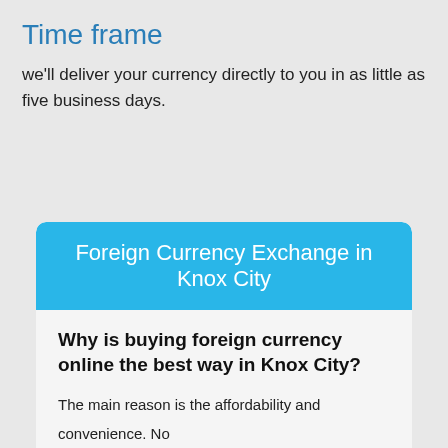Time frame
we'll deliver your currency directly to you in as little as five business days.
Foreign Currency Exchange in Knox City
Why is buying foreign currency online the best way in Knox City?
The main reason is the affordability and convenience. No calling or running around, waiting in ques just to find out they have ran out of stock.
What day is best to buy foreign currency?